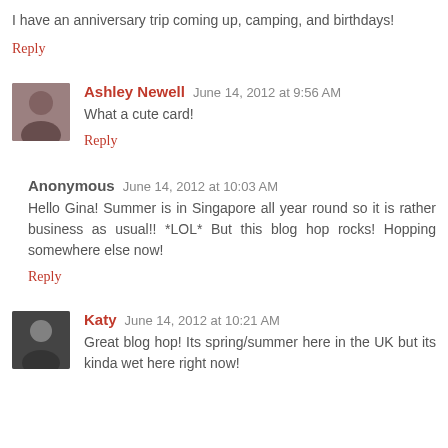I have an anniversary trip coming up, camping, and birthdays!
Reply
Ashley Newell  June 14, 2012 at 9:56 AM
What a cute card!
Reply
Anonymous  June 14, 2012 at 10:03 AM
Hello Gina! Summer is in Singapore all year round so it is rather business as usual!! *LOL* But this blog hop rocks! Hopping somewhere else now!
Reply
Katy  June 14, 2012 at 10:21 AM
Great blog hop! Its spring/summer here in the UK but its kinda wet here right now!